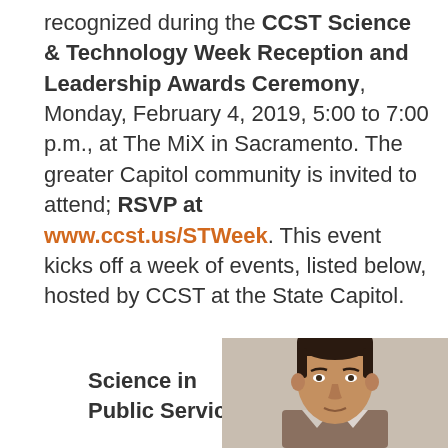recognized during the CCST Science & Technology Week Reception and Leadership Awards Ceremony, Monday, February 4, 2019, 5:00 to 7:00 p.m., at The MiX in Sacramento. The greater Capitol community is invited to attend; RSVP at www.ccst.us/STWeek. This event kicks off a week of events, listed below, hosted by CCST at the State Capitol.
Science in Public Service
[Figure (photo): Portrait photo of a man with dark hair, wearing a suit, against a light gray background.]